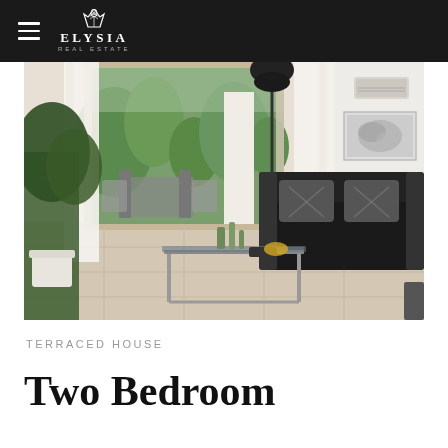ELYSIA REAL ESTATE
[Figure (photo): Interior photo of a modern living room with a black sofa, decorative pillows, glass coffee table with cactus plants, a floor lamp, a wall art piece, and sliding glass doors opening to a terrace with outdoor dining furniture and garden views. Light tile flooring. Air conditioning unit visible on the wall.]
TERRACED HOUSE
Two Bedroom